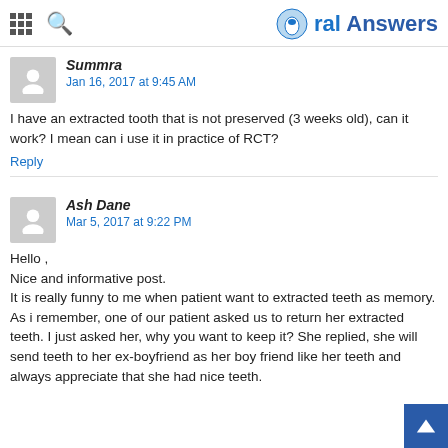Oral Answers
Summra
Jan 16, 2017 at 9:45 AM
I have an extracted tooth that is not preserved (3 weeks old), can it work? I mean can i use it in practice of RCT?
Reply
Ash Dane
Mar 5, 2017 at 9:22 PM
Hello ,
Nice and informative post.
It is really funny to me when patient want to extracted teeth as memory. As i remember, one of our patient asked us to return her extracted teeth. I just asked her, why you want to keep it? She replied, she will send teeth to her ex-boyfriend as her boy friend like her teeth and always appreciate that she had nice teeth.